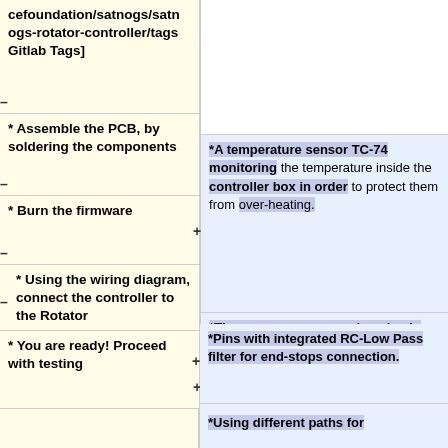cefoundation/satnogs/satnogs-rotator-controller/tags Gitlab Tags]
* Assemble the PCB, by soldering the components
*A temperature sensor TC-74 monitoring the temperature inside the controller box in order to protect them from over-heating.
* Burn the firmware
*There are some spare dev-pins in order to connect other peripherals like IMU or an LCD display.
* Using the wiring diagram, connect the controller to the Rotator
*Pins with integrated RC-Low Pass filter for end-stops connection.
* You are ready! Proceed with testing
*Default communication interface is RS-485 but it can also be used as a UART.
*Using different paths for